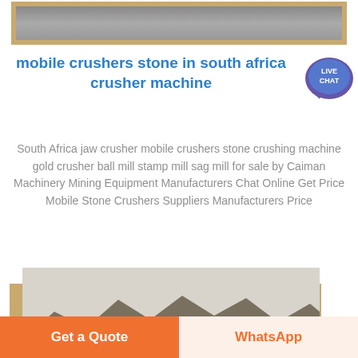[Figure (photo): Partial top image with tan/gold frame border, partially visible]
mobile crushers stone in south africa crusher machine
[Figure (other): Live Chat speech bubble badge in blue/purple tones]
South Africa jaw crusher mobile crushers stone crushing machine gold crusher ball mill stamp mill sag mill for sale by Caiman Machinery Mining Equipment Manufacturers Chat Online Get Price Mobile Stone Crushers Suppliers Manufacturers Price
[Figure (photo): Photograph of rocky mountain terrain with desert landscape, framed with tan/gold border]
Get a Quote   WhatsApp